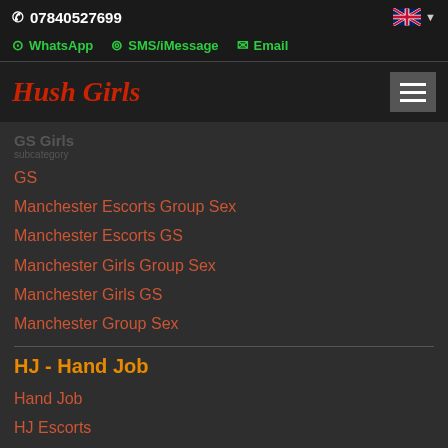07840527699
WhatsApp  SMS/iMessage  Email
Hush Girls
GS Girls
GS
Manchester Escorts Group Sex
Manchester Escorts GS
Manchester Girls Group Sex
Manchester Girls GS
Manchester Group Sex
HJ - Hand Job
Hand Job
HJ Escorts